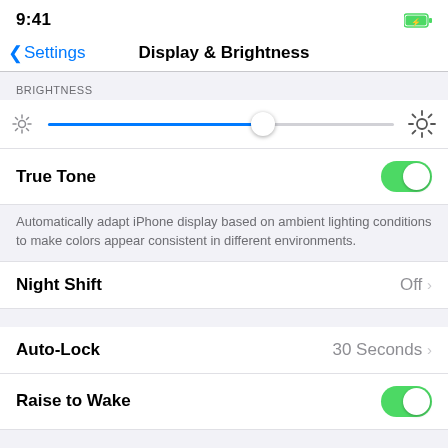9:41
Display & Brightness
BRIGHTNESS
[Figure (other): Brightness slider with small sun icon on left and large sun icon on right, slider thumb positioned at approximately 62% from left]
True Tone
Automatically adapt iPhone display based on ambient lighting conditions to make colors appear consistent in different environments.
Night Shift
Off
Auto-Lock
30 Seconds
Raise to Wake